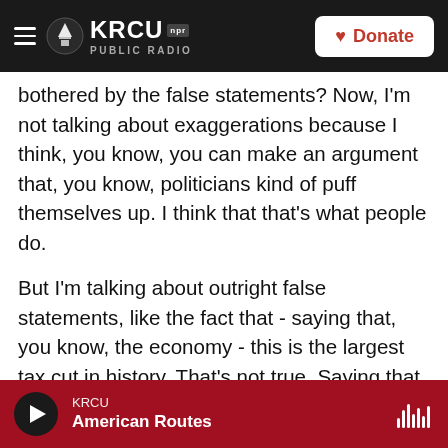KRCU NPR PUBLIC RADIO | Donate
bothered by the false statements? Now, I'm not talking about exaggerations because I think, you know, you can make an argument that, you know, politicians kind of puff themselves up. I think that that's what people do.
But I'm talking about outright false statements, like the fact that - saying that, you know, the economy - this is the largest tax cut in history. That's not true. Saying that the economy was lagging when he took office - that's not true. Saying that he protected people with preexisting conditions when, in fact, you know, Republicans have been trying to repeal
KRCU | American Routes